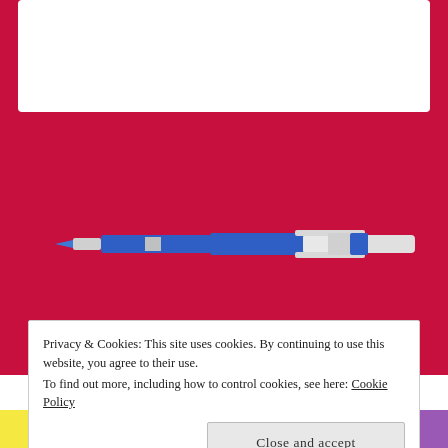[Figure (illustration): A blue and white ballpoint pen illustration on a red/crimson background]
POETRY BOOK PARADE, POETRY REVIEW
Review: Hey, Girl! Poems by Rachel Rooney
Privacy & Cookies: This site uses cookies. By continuing to use this website, you agree to their use.
To find out more, including how to control cookies, see here: Cookie Policy
Close and accept
[Figure (illustration): Colorful book cover strip visible at bottom of page]